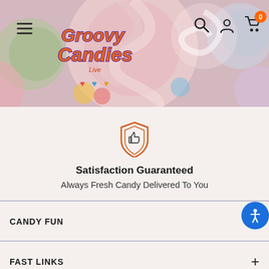[Figure (screenshot): Groovy Candies website header banner with colorful candy background (lollipops, gumballs) and logo]
Groovy Candies
[Figure (illustration): Satisfaction Guaranteed shield icon with thumbs up in orange outline]
Satisfaction Guaranteed
Always Fresh Candy Delivered To You
CANDY FUN
FAST LINKS
CUSTOMER SERVICE